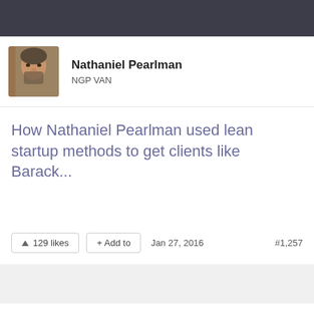Nathaniel Pearlman
NGP VAN
How Nathaniel Pearlman used lean startup methods to get clients like Barack...
129 likes   + Add to   Jan 27, 2016   #1,257
Company Types
E-Commerce